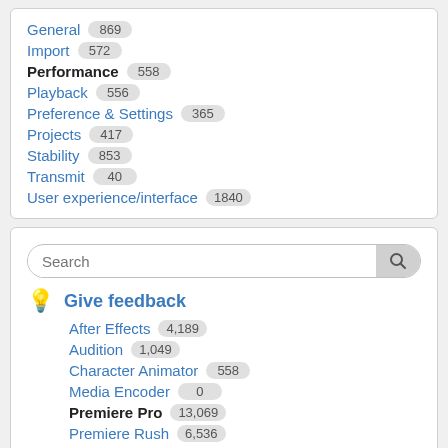General 869
Import 572
Performance 558
Playback 556
Preference & Settings 365
Projects 417
Stability 853
Transmit 40
User experience/interface 1840
Search
Give feedback
After Effects 4,189
Audition 1,049
Character Animator 558
Media Encoder 0
Premiere Pro 13,069
Premiere Rush 6,536